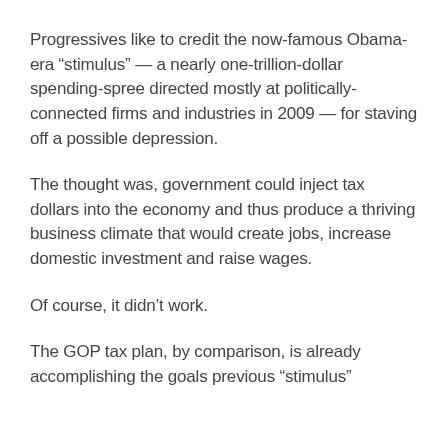Progressives like to credit the now-famous Obama-era “stimulus” — a nearly one-trillion-dollar spending-spree directed mostly at politically-connected firms and industries in 2009 — for staving off a possible depression.
The thought was, government could inject tax dollars into the economy and thus produce a thriving business climate that would create jobs, increase domestic investment and raise wages.
Of course, it didn’t work.
The GOP tax plan, by comparison, is already accomplishing the goals previous “stimulus”